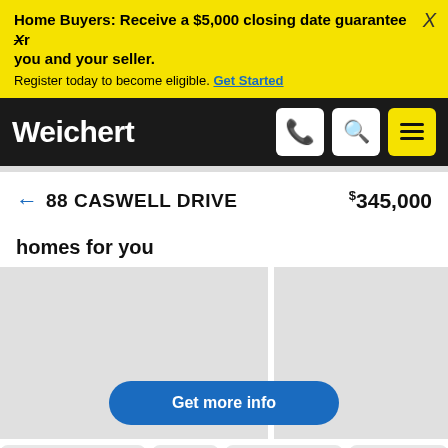Home Buyers: Receive a $5,000 closing date guarantee Xr you and your seller. Register today to become eligible. Get Started
[Figure (screenshot): Weichert logo and navigation bar with phone, search, and menu buttons]
← 88 CASWELL DRIVE   $345,000
homes for you
[Figure (screenshot): Two gray property card placeholders with a blue 'Get more info' button overlay]
[Figure (screenshot): Bottom row of partial gray property card thumbnails]